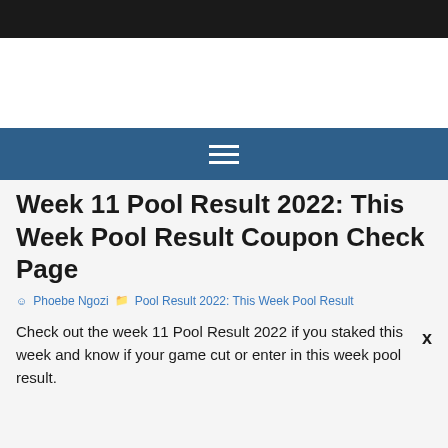Week 11 Pool Result 2022: This Week Pool Result Coupon Check Page
Phoebe Ngozi   Pool Result 2022: This Week Pool Result
Check out the week 11 Pool Result 2022 if you staked this week and know if your game cut or enter in this week pool result.